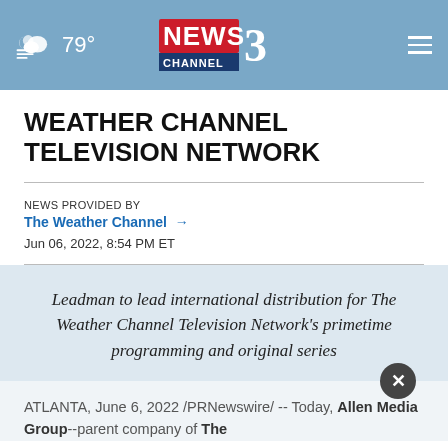79° NEWS CHANNEL 3 WREG MEMPHIS
WEATHER CHANNEL TELEVISION NETWORK
NEWS PROVIDED BY
The Weather Channel →
Jun 06, 2022, 8:54 PM ET
Leadman to lead international distribution for The Weather Channel Television Network's primetime programming and original series
ATLANTA, June 6, 2022 /PRNewswire/ -- Today, Allen Media Group--parent company of The